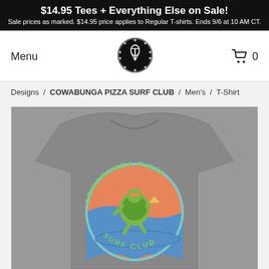$14.95 Tees + Everything Else on Sale! Sale prices as marked. $14.95 price applies to Regular T-shirts. Ends 9/6 at 10 AM CT.
Menu
[Figure (logo): Threadless/store logo: circular black badge with whisk icon and dot border]
0
Designs / COWABUNGA PIZZA SURF CLUB / Men's / T-Shirt
[Figure (photo): Gray heather t-shirt featuring a circular graphic design with 'COWABUNGA PIZZA SURF CLUB' text and a cartoon ninja turtle surfing with a pizza, against a sunset background of orange and blue]